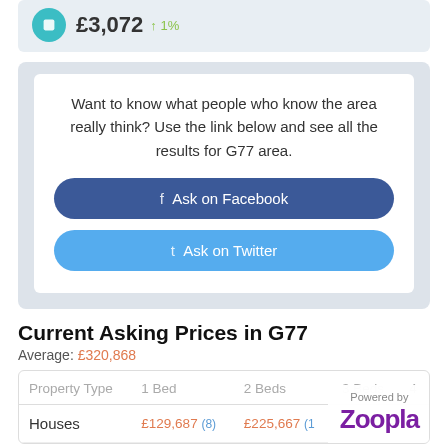£3,072 ↑1%
Want to know what people who know the area really think? Use the link below and see all the results for G77 area.
f Ask on Facebook
t Ask on Twitter
Current Asking Prices in G77
Average: £320,868
| Property Type | 1 Bed | 2 Beds | 3 Beds | 4 |
| --- | --- | --- | --- | --- |
| Houses | £129,687 (8) | £225,667 (1) |  |  |
Powered by Zoopla